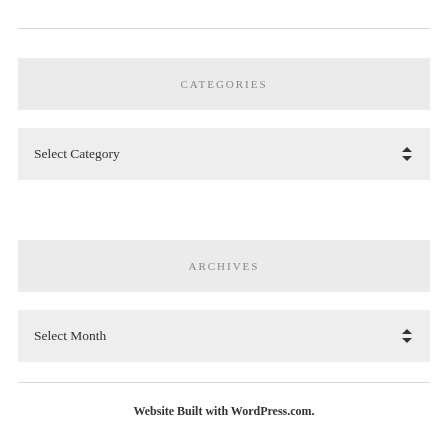CATEGORIES
Select Category
ARCHIVES
Select Month
Website Built with WordPress.com.